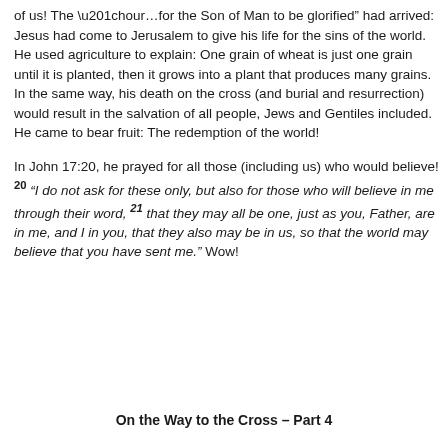of us! The “hour…for the Son of Man to be glorified” had arrived: Jesus had come to Jerusalem to give his life for the sins of the world. He used agriculture to explain: One grain of wheat is just one grain until it is planted, then it grows into a plant that produces many grains. In the same way, his death on the cross (and burial and resurrection) would result in the salvation of all people, Jews and Gentiles included. He came to bear fruit: The redemption of the world!
In John 17:20, he prayed for all those (including us) who would believe! 20 “I do not ask for these only, but also for those who will believe in me through their word, 21 that they may all be one, just as you, Father, are in me, and I in you, that they also may be in us, so that the world may believe that you have sent me.” Wow!
On the Way to the Cross – Part 4